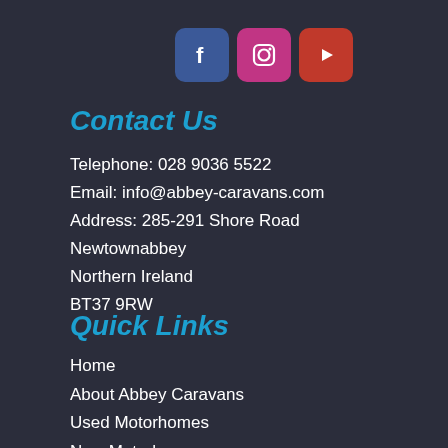[Figure (infographic): Three social media icons: Facebook (blue), Instagram (pink/magenta), YouTube (red)]
Contact Us
Telephone: 028 9036 5522
Email: info@abbey-caravans.com
Address: 285-291 Shore Road
Newtownabbey
Northern Ireland
BT37 9RW
Quick Links
Home
About Abbey Caravans
Used Motorhomes
New Motorhomes
Terms & Conditions
Contact Us